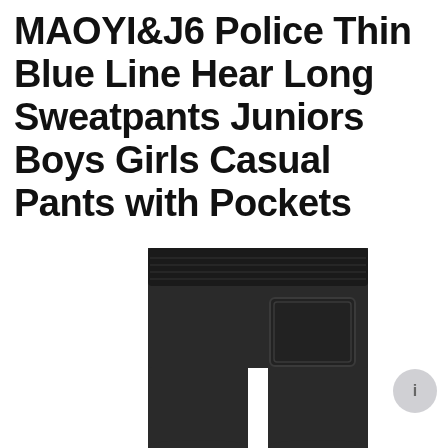MAOYI&J6 Police Thin Blue Line Hear Long Sweatpants Juniors Boys Girls Casual Pants with Pockets
[Figure (photo): Dark grey/black sweatpants shown from the waist down, displaying an elastic waistband and a rectangular patch pocket on the right side. There is a small grey circular button/icon on the right side of the image.]